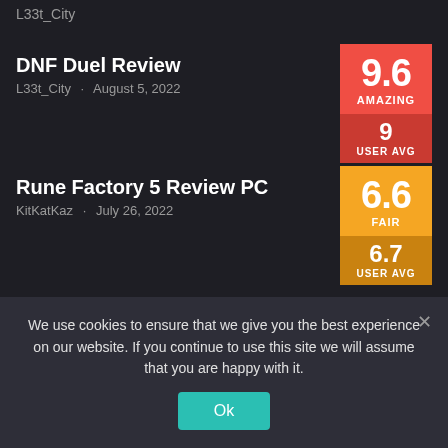L33t_City
DNF Duel Review
L33t_City · August 5, 2022
[Figure (infographic): Score badge: 9.6 AMAZING, 9 USER AVG, red background]
Rune Factory 5 Review PC
KitKatKaz · July 26, 2022
[Figure (infographic): Score badge: 6.6 FAIR, 6.7 USER AVG, orange background]
We use cookies to ensure that we give you the best experience on our website. If you continue to use this site we will assume that you are happy with it.